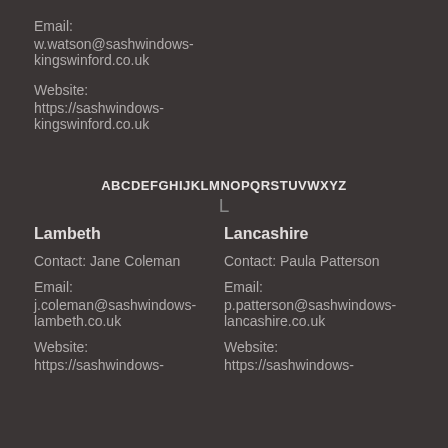Email:
w.watson@sashwindows-kingswinford.co.uk
Website:
https://sashwindows-kingswinford.co.uk
ABCDEFGHIJKLMNOPQRSTUVWXYZ
L
Lambeth
Lancashire
Contact: Jane Coleman
Contact: Paula Patterson
Email:
j.coleman@sashwindows-lambeth.co.uk
Email:
p.patterson@sashwindows-lancashire.co.uk
Website:
https://sashwindows-
Website:
https://sashwindows-